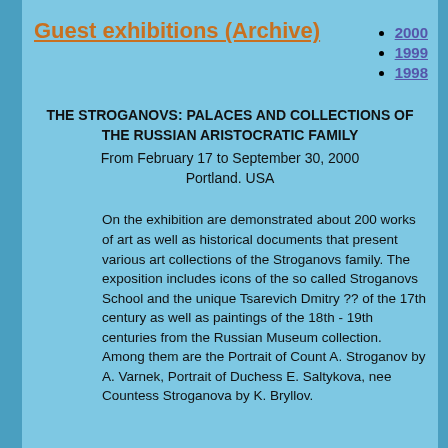Guest exhibitions (Archive)
2000
1999
1998
THE STROGANOVS: PALACES AND COLLECTIONS OF THE RUSSIAN ARISTOCRATIC FAMILY
From February 17 to September 30, 2000
Portland. USA
On the exhibition are demonstrated about 200 works of art as well as historical documents that present various art collections of the Stroganovs family. The exposition includes icons of the so called Stroganovs School and the unique Tsarevich Dmitry ?? of the 17th century as well as paintings of the 18th - 19th centuries from the Russian Museum collection. Among them are the Portrait of Count A. Stroganov by A. Varnek, Portrait of Duchess E. Saltykova, nee Countess Stroganova by K. Bryllov.